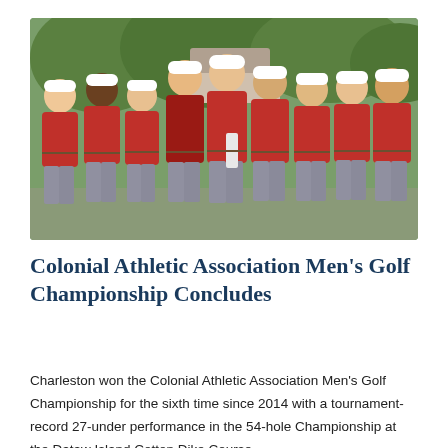[Figure (photo): A group of nine college golf team members posing together outdoors, all wearing matching red polo shirts, grey pants, and white caps. They are standing close together with arms around each other, smiling, with green trees in the background.]
Colonial Athletic Association Men's Golf Championship Concludes
Charleston won the Colonial Athletic Association Men's Golf Championship for the sixth time since 2014 with a tournament-record 27-under performance in the 54-hole Championship at the Dataw Island Cotton Dike Course